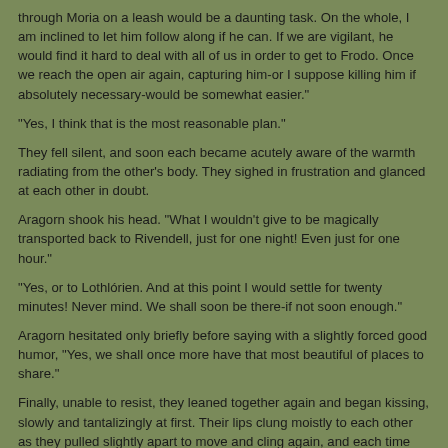through Moria on a leash would be a daunting task. On the whole, I am inclined to let him follow along if he can. If we are vigilant, he would find it hard to deal with all of us in order to get to Frodo. Once we reach the open air again, capturing him-or I suppose killing him if absolutely necessary-would be somewhat easier.
"Yes, I think that is the most reasonable plan."
They fell silent, and soon each became acutely aware of the warmth radiating from the other's body. They sighed in frustration and glanced at each other in doubt.
Aragorn shook his head. "What I wouldn't give to be magically transported back to Rivendell, just for one night! Even just for one hour."
"Yes, or to Lothlórien. And at this point I would settle for twenty minutes! Never mind. We shall soon be there-if not soon enough."
Aragorn hesitated only briefly before saying with a slightly forced good humor, "Yes, we shall once more have that most beautiful of places to share."
Finally, unable to resist, they leaned together again and began kissing, slowly and tantalizingly at first. Their lips clung moistly to each other as they pulled slightly apart to move and cling again, and each time the kiss was renewed, their tongues met more eagerly and lingeringly.
Gandalf soon moved back just a little and whispered, "Do you know, with all the troubles we have had lately and facing a long